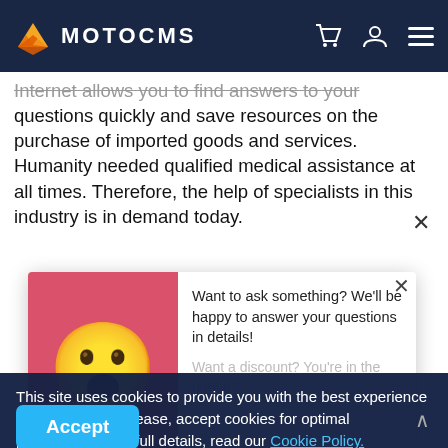MOTOCMS
Internet allows you to find answers to your questions quickly and save resources on the purchase of imported goods and services. Humanity needed qualified medical assistance at all times. Therefore, the help of specialists in this industry is in demand today.
[Figure (illustration): Chat popup with surprised emoji face on red background, asking 'Want to ask something? We'll be happy to answer your questions in details!' and 'Want a discount? You're in the right place!' with a Start Chat button. Close X button in top right.]
This site uses cookies to provide you with the best experience on our website. Please, accept cookies for optimal performance. For full details, read our Cookie Policy.
The content of the web resource helps to determine the target audience more accurately and to avoid l... issues in the future.
Like any business site, therapist website design has